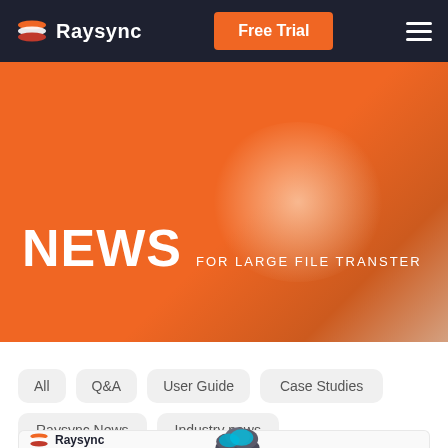Raysync | Free Trial
NEWS FOR LARGE FILE TRANSTER
All
Q&A
User Guide
Case Studies
Raysync News
Industry news
[Figure (logo): Raysync logo with cloud icon at bottom of page]